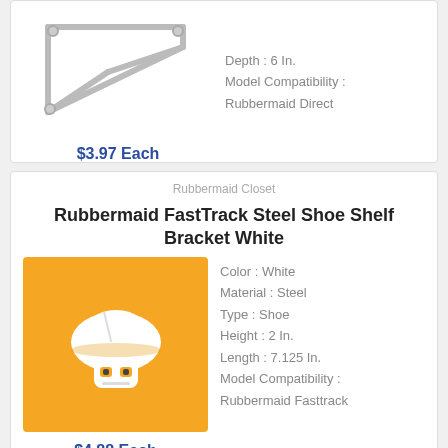[Figure (photo): White steel shelf bracket product image on white background]
Depth : 6 In.
Model Compatibility : Rubbermaid Direct
$3.97 Each
Rubbermaid Closet
Rubbermaid FastTrack Steel Shoe Shelf Bracket White
[Figure (illustration): Robot/construction worker mascot icon on orange/yellow background]
Color : White
Material : Steel
Type : Shoe
Height : 2 In.
Length : 7.125 In.
Model Compatibility : Rubbermaid Fasttrack
$4.88 Each